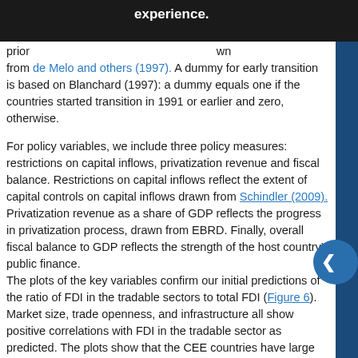prior experience. drawn from de Melo and others (1997). A dummy for early transition is based on Blanchard (1997): a dummy equals one if the countries started transition in 1991 or earlier and zero, otherwise.
For policy variables, we include three policy measures: restrictions on capital inflows, privatization revenue and fiscal balance. Restrictions on capital inflows reflect the extent of capital controls on capital inflows drawn from Schindler (2009). Privatization revenue as a share of GDP reflects the progress in privatization process, drawn from EBRD. Finally, overall fiscal balance to GDP reflects the strength of the host country's public finance.
The plots of the key variables confirm our initial predictions of the ratio of FDI in the tradable sectors to total FDI (Figure 6). Market size, trade openness, and infrastructure all show positive correlations with FDI in the tradable sector as predicted. The plots show that the CEE countries have large domestic markets with better infrastructure and greater trade openness,